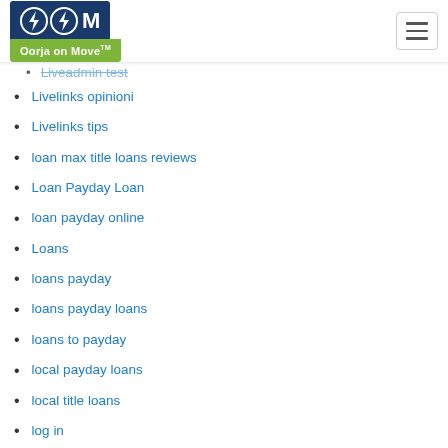Oorja on Move — navigation header with logo and hamburger menu
Livelinks opinioni
Livelinks tips
loan max title loans reviews
Loan Payday Loan
loan payday online
Loans
loans payday
loans payday loans
loans to payday
local payday loans
local title loans
log in
login
long term payday loans
long term title loans